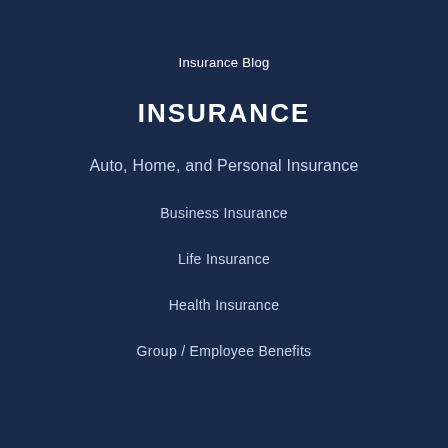Insurance Blog
INSURANCE
Auto, Home, and Personal Insurance
Business Insurance
Life Insurance
Health Insurance
Group / Employee Benefits